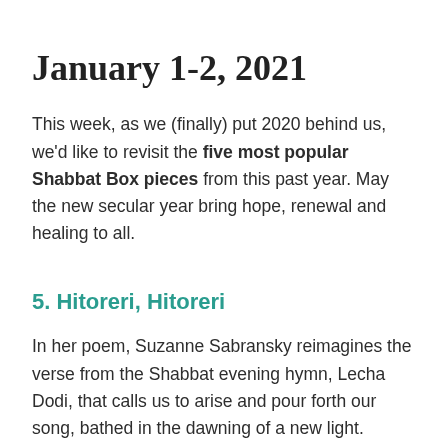January 1-2, 2021
This week, as we (finally) put 2020 behind us, we'd like to revisit the five most popular Shabbat Box pieces from this past year. May the new secular year bring hope, renewal and healing to all.
5. Hitoreri, Hitoreri
In her poem, Suzanne Sabransky reimagines the verse from the Shabbat evening hymn, Lecha Dodi, that calls us to arise and pour forth our song, bathed in the dawning of a new light. Sourced from Ritualwell